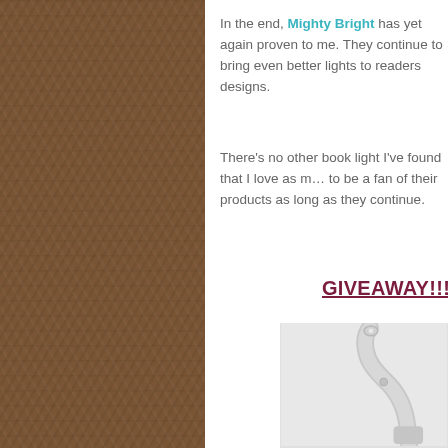In the end, Mighty Bright has yet again proven to me. They continue to bring even better lights to readers designs.
There's no other book light I've found that I love as much and I plan to be a fan of their products as long as they continue to make them.
GIVEAWAY!!!!
[Figure (photo): A white flexible LED book light with a curved neck and small LED at the tip, shown against a light grey background.]